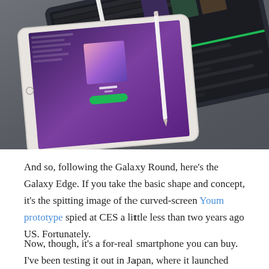[Figure (photo): Photo of two tablets/iPads on a dark grey surface, both showing Spotify-like music app interfaces. The background tablet is tilted more steeply and shows a music playlist UI with green progress bar and album artwork. The front tablet is white/silver, slightly tilted, showing a purple gradient album art screen. Both tablets have a white stylus/pencil resting on them.]
And so, following the Galaxy Round, here's the Galaxy Edge. If you take the basic shape and concept, it's the spitting image of the curved-screen Youm prototype spied at CES a little less than two years ago US. Fortunately.
Now, though, it's a for-real smartphone you can buy. I've been testing it out in Japan, where it launched instead of